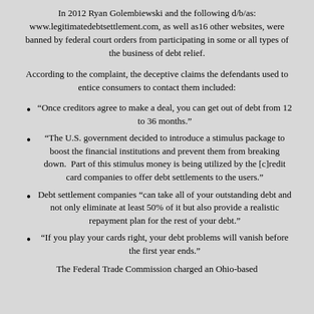In 2012 Ryan Golembiewski and the following d/b/as: www.legitimatedebtsettlement.com, as well as16 other websites, were banned by federal court orders from participating in some or all types of the business of debt relief.
According to the complaint, the deceptive claims the defendants used to entice consumers to contact them included:
“Once creditors agree to make a deal, you can get out of debt from 12 to 36 months.”
“The U.S. government decided to introduce a stimulus package to boost the financial institutions and prevent them from breaking down.  Part of this stimulus money is being utilized by the [c]redit card companies to offer debt settlements to the users.”
Debt settlement companies “can take all of your outstanding debt and not only eliminate at least 50% of it but also provide a realistic repayment plan for the rest of your debt.”
“If you play your cards right, your debt problems will vanish before the first year ends.”
The Federal Trade Commission charged an Ohio-based